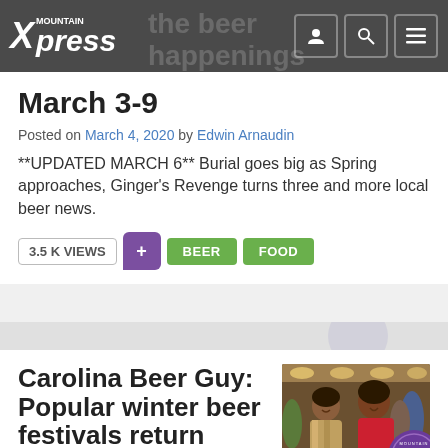Mountain Xpress
March 3-9
Posted on March 4, 2020 by Edwin Arnaudin
**UPDATED MARCH 6** Burial goes big as Spring approaches, Ginger’s Revenge turns three and more local beer news.
3.5 K VIEWS  BEER  FOOD
Carolina Beer Guy: Popular winter beer festivals return
[Figure (photo): Two women smiling at a beer festival event]
Posted on February 27, 2020 by Tony Kiss